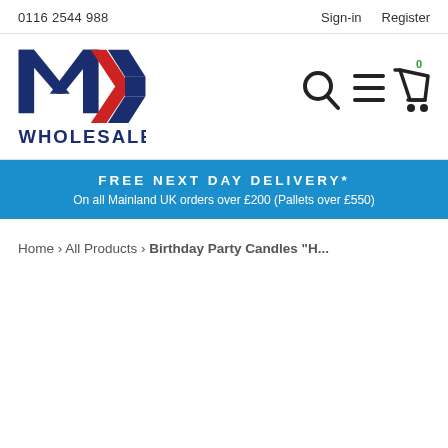0116 2544 988   Sign-in   Register
[Figure (logo): MX Wholesale logo — bold MX letters with red chevron and WHOLESALE text below]
[Figure (infographic): Navigation icons: search magnifying glass, hamburger menu, shopping cart with 0 badge]
FREE NEXT DAY DELIVERY* On all Mainland UK orders over £200 (Pallets over £550)
Home › All Products › Birthday Party Candles "H...